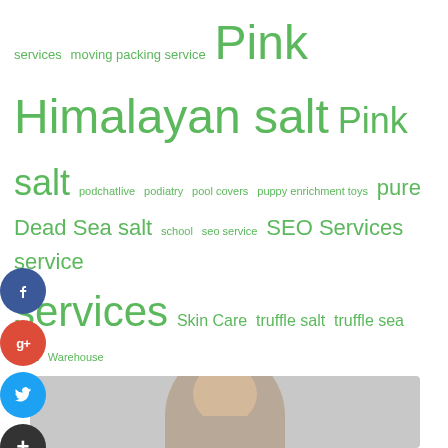services  moving packing service  Pink Himalayan salt  Pink salt  podchatIive  podiatry  pool covers  puppy enrichment toys  pure Dead Sea salt  school  seo service  SEO Services  service  services  Skin Care  truffle salt  truffle sea salt  Warehouse Management System  web design services
Author Bio
Hi I am Jorja Blackmore a business analyst and part time blogger. I am crazy about gathering latest information around the world. I have started this blog to share my knowledge & experience.
[Figure (photo): Photo of Jorja Blackmore, a woman with shoulder-length blonde hair, shown from the top of the head down, against a light grey background.]